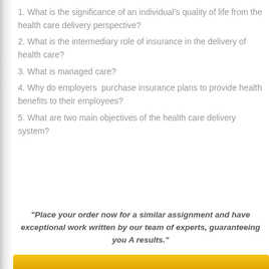1. What is the significance of an individual's quality of life from the health care delivery perspective?
2. What is the intermediary role of insurance in the delivery of health care?
3. What is managed care?
4. Why do employers  purchase insurance plans to provide health benefits to their employees?
5. What are two main objectives of the health care delivery system?
"Place your order now for a similar assignment and have exceptional work written by our team of experts, guaranteeing you A results."